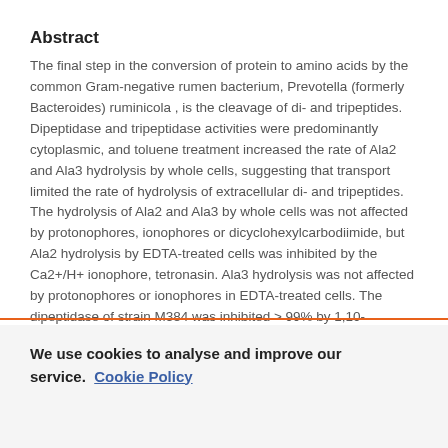Abstract
The final step in the conversion of protein to amino acids by the common Gram-negative rumen bacterium, Prevotella (formerly Bacteroides) ruminicola , is the cleavage of di- and tripeptides. Dipeptidase and tripeptidase activities were predominantly cytoplasmic, and toluene treatment increased the rate of Ala2 and Ala3 hydrolysis by whole cells, suggesting that transport limited the rate of hydrolysis of extracellular di- and tripeptides. The hydrolysis of Ala2 and Ala3 by whole cells was not affected by protonophores, ionophores or dicyclohexylcarbodiimide, but Ala2 hydrolysis by EDTA-treated cells was inhibited by the Ca2+/H+ ionophore, tetronasin. Ala3 hydrolysis was not affected by protonophores or ionophores in EDTA-treated cells. The dipeptidase of strain M384 was inhibited > 99% by 1,10-
We use cookies to analyse and improve our service. Cookie Policy